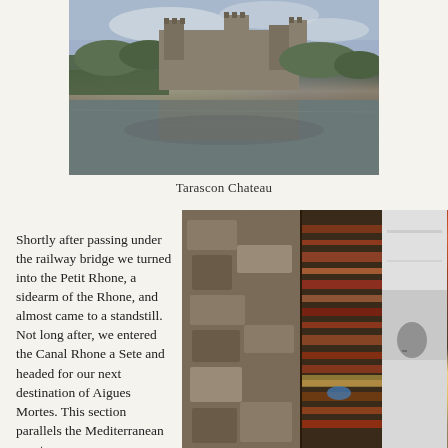[Figure (photo): Tarascon Chateau viewed from across the water, showing a medieval castle with towers, surrounded by trees, reflected in the river below with cloudy sky above.]
Tarascon Chateau
Shortly after passing under the railway bridge we turned into the Petit Rhone, a sidearm of the Rhone, and almost came to a standstill. Not long after, we entered the Canal Rhone a Sete and headed for our next destination of Aigues Mortes. This section parallels the Mediterranean coast
[Figure (photo): Close-up photo of weathered wooden and stone surface showing layers of paint in red, orange, blue and white with rough texture, possibly a lock gate or boat hull.]